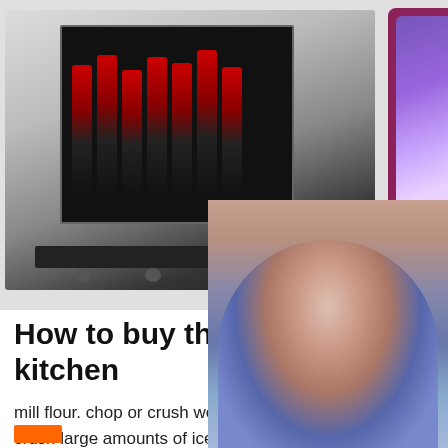[Figure (photo): Top banner with commercial refrigerator on left, colorful drinks and cupcake collage on right with dark pink/magenta background, and a 24/7 online chat widget with female customer service representative on far right]
How to buy the best blender for kitchen
mill flour. chop or crush wet and dry ingredients. crush large amounts of ice into a snow-like appearance. create hot soup (above 70°C) in around five minutes from completely raw ingredients, using blade friction alone. make nut butters. create spice pastes. make dough.